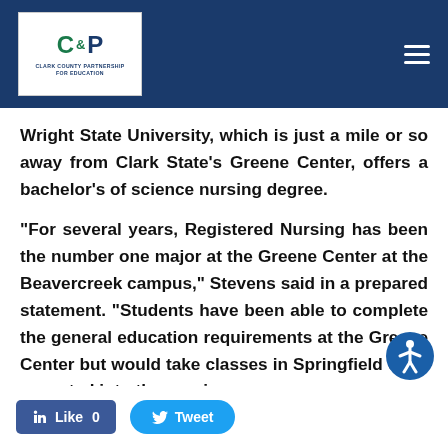[Figure (logo): Clark County Partnership (CCP) logo — white background with teal/navy letters and subtitle text]
Wright State University, which is just a mile or so away from Clark State's Greene Center, offers a bachelor's of science nursing degree.
“For several years, Registered Nursing has been the number one major at the Greene Center at the Beavercreek campus,” Stevens said in a prepared statement. “Students have been able to complete the general education requirements at the Greene Center but would take classes in Springfield once accepted into the nursing program.
[Figure (illustration): Accessibility icon — blue circle with white person/wheelchair symbol]
[Figure (other): Facebook Like button (blue rectangle) showing 'Like 0' and Twitter Tweet button (blue rounded rectangle) showing 'Tweet']